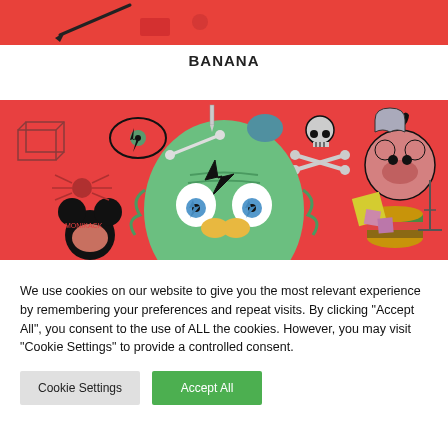[Figure (illustration): Top portion of a colorful illustration on a red background, partially cropped]
BANANA
[Figure (illustration): Colorful pop-art style illustration on a bright red background featuring a green alien-like face with a lightning bolt on its forehead, blue eyes, yellow nose, surrounded by various surreal doodles including a skull and crossbones, Mickey Mouse-like character, spider, hamburger, geometric shapes, and other cartoon imagery]
We use cookies on our website to give you the most relevant experience by remembering your preferences and repeat visits. By clicking "Accept All", you consent to the use of ALL the cookies. However, you may visit "Cookie Settings" to provide a controlled consent.
Cookie Settings
Accept All